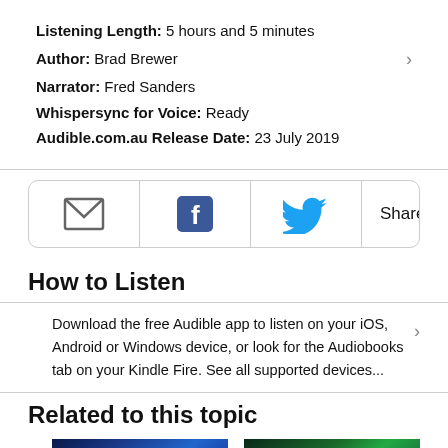Listening Length: 5 hours and 5 minutes
Author: Brad Brewer
Narrator: Fred Sanders
Whispersync for Voice: Ready
Audible.com.au Release Date: 23 July 2019
[Figure (other): Share bar with email, Facebook, Twitter icons and Share button with chevron]
How to Listen
Download the free Audible app to listen on your iOS, Android or Windows device, or look for the Audiobooks tab on your Kindle Fire. See all supported devices...
Related to this topic
[Figure (photo): Two book cover thumbnails related to the topic]